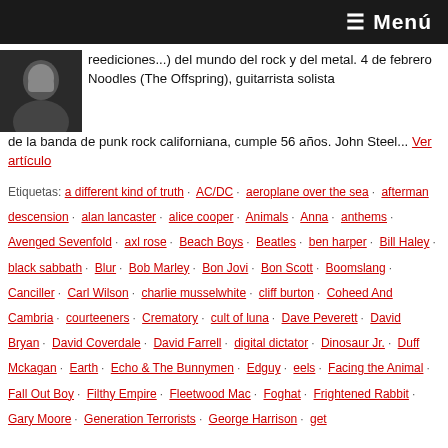≡ Menú
reediciones...) del mundo del rock y del metal. 4 de febrero Noodles (The Offspring), guitarrista solista de la banda de punk rock californiana, cumple 56 años. John Steel... Ver artículo
Etiquetas: a different kind of truth · AC/DC · aeroplane over the sea · afterman descension · alan lancaster · alice cooper · Animals · Anna · anthems · Avenged Sevenfold · axl rose · Beach Boys · Beatles · ben harper · Bill Haley · black sabbath · Blur · Bob Marley · Bon Jovi · Bon Scott · Boomslang · Canciller · Carl Wilson · charlie musselwhite · cliff burton · Coheed And Cambria · courteeners · Crematory · cult of luna · Dave Peverett · David Bryan · David Coverdale · David Farrell · digital dictator · Dinosaur Jr. · Duff Mckagan · Earth · Echo & The Bunnymen · Edguy · eels · Facing the Animal · Fall Out Boy · Filthy Empire · Fleetwood Mac · Foghat · Frightened Rabbit · Gary Moore · Generation Terrorists · George Harrison · get